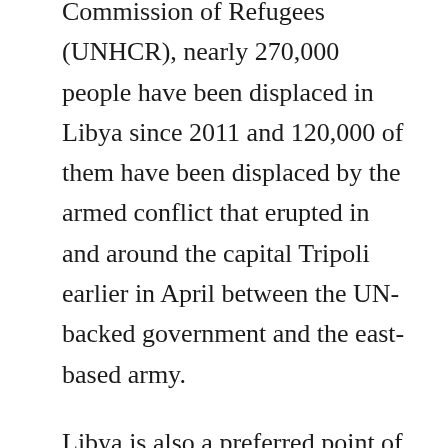According to the United Nations Higher Commission of Refugees (UNHCR), nearly 270,000 people have been displaced in Libya since 2011 and 120,000 of them have been displaced by the armed conflict that erupted in and around the capital Tripoli earlier in April between the UN-backed government and the east-based army.
Libya is also a preferred point of departure for illegal immigrants wanting to cross the Mediterranean towards Europe.
Thousands of immigrants are detained in reception centers, mostly in western Libya, with poor living conditions.